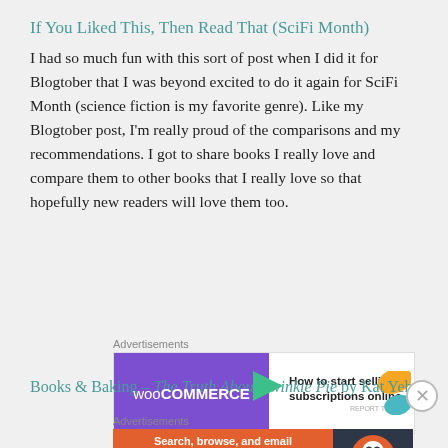If You Liked This, Then Read That (SciFi Month)
I had so much fun with this sort of post when I did it for Blogtober that I was beyond excited to do it again for SciFi Month (science fiction is my favorite genre). Like my Blogtober post, I'm really proud of the comparisons and my recommendations. I got to share books I really love and compare them to other books that I really love so that hopefully new readers will love them too.
[Figure (screenshot): WooCommerce advertisement: 'How to start selling subscriptions online']
Books & Baking – The Truth About Twinkie Pie by Kat Yeh
[Figure (screenshot): DuckDuckGo advertisement: 'Search, browse, and email with more privacy. All in One Free App']